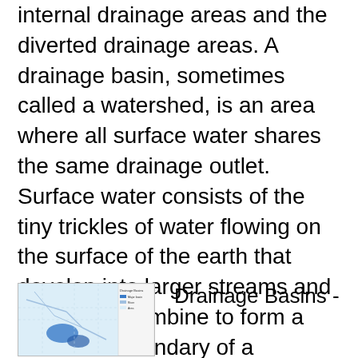in this in Canada, the major river basins, the internal drainage areas and the diverted drainage areas. A drainage basin, sometimes called a watershed, is an area where all surface water shares the same drainage outlet. Surface water consists of the tiny trickles of water flowing on the surface of the earth that develop into larger streams and eventually combine to form a river. The boundary of a watershed is called a drainage divide. View more details on Drainage Basins - Open Government.
[Figure (map): Thumbnail map showing Drainage Basins with blue water features and a legend on the right side]
Drainage Basins -